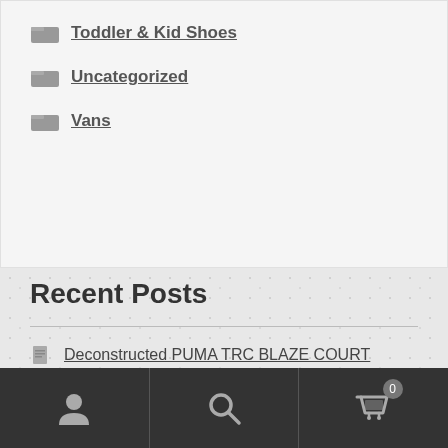Toddler & Kid Shoes
Uncategorized
Vans
Recent Posts
Deconstructed PUMA TRC BLAZE COURT
Unboxing & Closed Look: PUMA TRC BLAZE COURT
User | Search | Cart 0